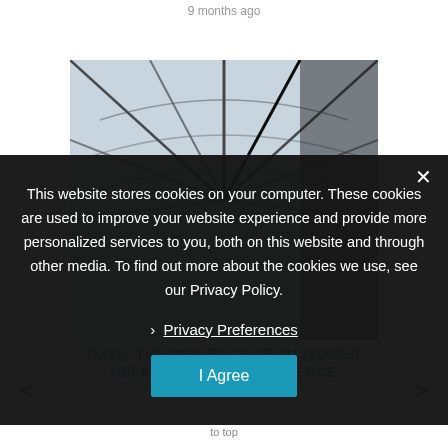9 months ago
[Figure (photo): Close-up photo of umbrella spokes and canopy, black and white/light blue tones]
This website stores cookies on your computer. These cookies are used to improve your website experience and provide more personalized services to you, both on this website and through other media. To find out more about the cookies we use, see our Privacy Policy.
› Privacy Preferences
I Agree
DATA: THE NEW FACE OF CUSTOMER RELATIONS FOR E-COMMERCE
to top